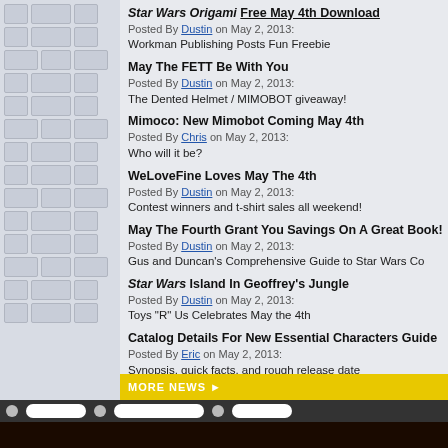Star Wars Origami Free May 4th Download
Posted By Dustin on May 2, 2013:
Workman Publishing Posts Fun Freebie
May The FETT Be With You
Posted By Dustin on May 2, 2013:
The Dented Helmet / MIMOBOT giveaway!
Mimoco: New Mimobot Coming May 4th
Posted By Chris on May 2, 2013:
Who will it be?
WeLoveFine Loves May The 4th
Posted By Dustin on May 2, 2013:
Contest winners and t-shirt sales all weekend!
May The Fourth Grant You Savings On A Great Book!
Posted By Dustin on May 2, 2013:
Gus and Duncan's Comprehensive Guide to Star Wars Co
Star Wars Island In Geoffrey's Jungle
Posted By Dustin on May 2, 2013:
Toys "R" Us Celebrates May the 4th
Catalog Details For New Essential Characters Guide
Posted By Eric on May 2, 2013:
Synopsis, quick facts, and rough release date
Synopsis Posted For Star Wars: Kenobi
Posted By Eric on May 2, 2013:
"The Republic has fallen. Sith Lords rule the galaxy."
MORE NEWS ▶